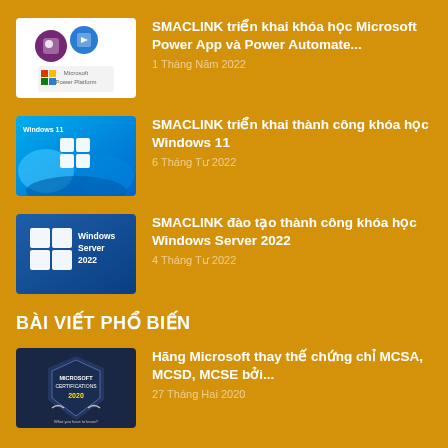[Figure (illustration): Microsoft Power Platform logo with purple and blue app icons on white background]
SMACLINK triển khai khóa học Microsoft Power App và Power Automate...
1 Tháng Năm 2022
[Figure (illustration): Windows 11 logo with blue swirl background]
SMACLINK triển khai thành công khóa học Windows 11
6 Tháng Tư 2022
[Figure (illustration): Windows Server 2022 logo on blue gradient background with white window icon]
SMACLINK đào tạo thành công khóa học Windows Server 2022
4 Tháng Tư 2022
BÀI VIẾT PHỔ BIẾN
[Figure (illustration): Microsoft Certifications 2020 badge on dark navy blue background]
Hãng Microsoft thay thế chứng chỉ MCSA, MCSD, MCSE bởi...
27 Tháng Hai 2020